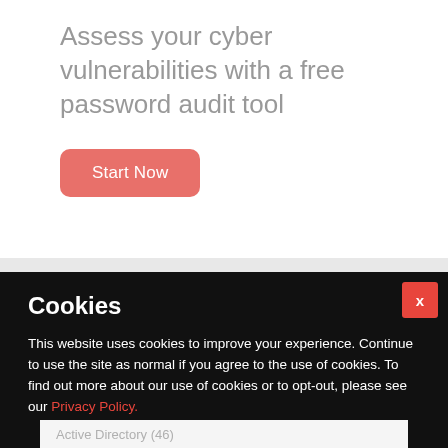Assess your cyber vulnerabilities with a free password audit tool
[Figure (screenshot): Red rounded button labeled 'Start Now']
Cookies
This website uses cookies to improve your experience. Continue to use the site as normal if you agree to the use of cookies. To find out more about our use of cookies or to opt-out, please see our Privacy Policy.
Active Directory (46)